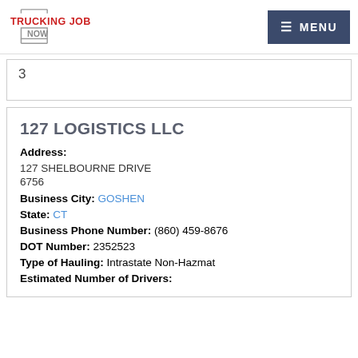TRUCKING JOB NOW | MENU
3
127 LOGISTICS LLC
Address:
127 SHELBOURNE DRIVE
6756
Business City: GOSHEN
State: CT
Business Phone Number: (860) 459-8676
DOT Number: 2352523
Type of Hauling: Intrastate Non-Hazmat
Estimated Number of Drivers: